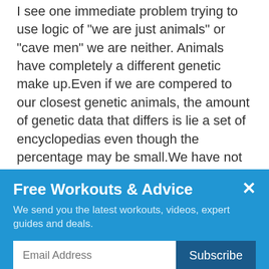I see one immediate problem trying to use logic of "we are just animals" or "cave men" we are neither. Animals have completely a different genetic make up.Even if we are compered to our closest genetic animals, the amount of genetic data that differs is lie a set of encyclopedias even though the percentage may be small.We have not been hunters or gatherers for many centuries. Our bodies have changed and adapted to our way of life. Can we change those patterns? yes, but it doesn't mean one way or the other is somehow in our genetic make up to eat a certain way.If you start with the wrong presuppositions you will naturally come to
Free Workouts & Advice
We send you the latest workouts, videos, expert guides and deals.